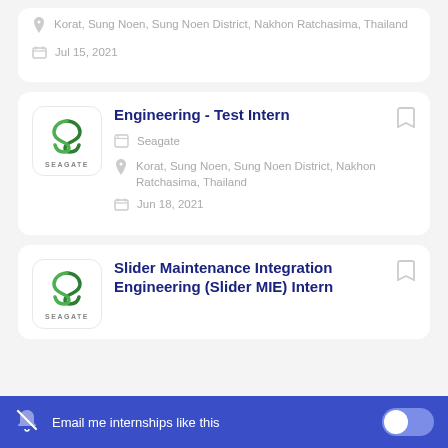Korat, Sung Noen, Sung Noen District, Nakhon Ratchasima, Thailand
Jul 15, 2021
Engineering - Test Intern
Seagate
Korat, Sung Noen, Sung Noen District, Nakhon Ratchasima, Thailand
Jun 18, 2021
Slider Maintenance Integration Engineering (Slider MIE) Intern
Email me internships like this